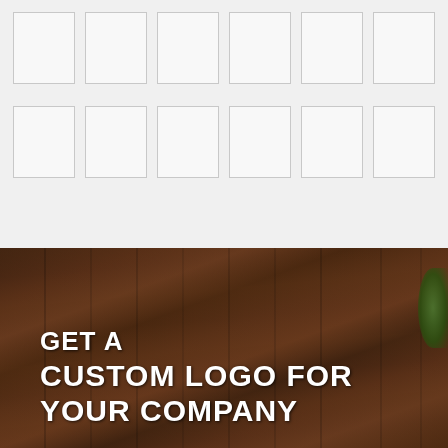[Figure (other): Grid of empty placeholder boxes arranged in two rows of six cells each on a light gray background]
[Figure (illustration): Dark wood plank texture background with green accent element in top right corner. Large white bold text reads: GET A CUSTOM LOGO FOR YOUR COMPANY]
GET A CUSTOM LOGO FOR YOUR COMPANY